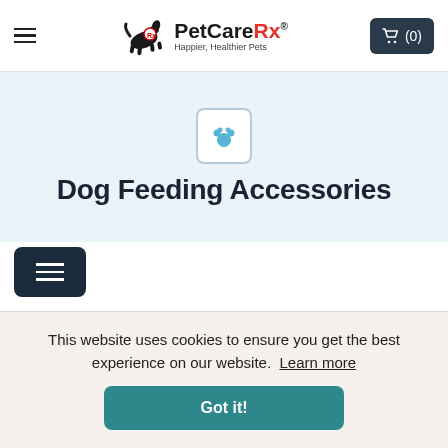PetCareRx — Happier, Healthier Pets — navigation bar with hamburger menu and cart (0)
Dog Feeding Accessories
[Figure (screenshot): Filter/menu button (dark navy rectangle with three horizontal white lines) and Sort dropdown]
This website uses cookies to ensure you get the best experience on our website. Learn more
Got it!